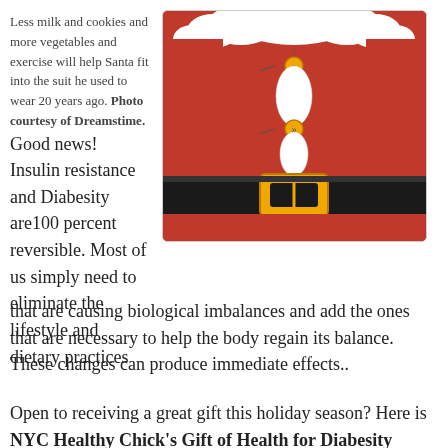Less milk and cookies and more vegetables and exercise will help Santa fit into the suit he used to wear 20 years ago. Photo courtesy of Dreamstime.
[Figure (illustration): Illustration of a Santa Claus torso in a red suit with a black belt and gold buckle, white fur trim at the top, and buttons on the suit front.]
Good news! Insulin resistance and Diabesity are100 percent reversible. Most of us simply need to eliminate the lifestyle and dietary practices that are causing biological imbalances and add the ones that are necessary to help the body regain its balance. These changes can produce immediate effects..
Open to receiving a great gift this holiday season? Here is NYC Healthy Chick's Gift of Health for Diabesity